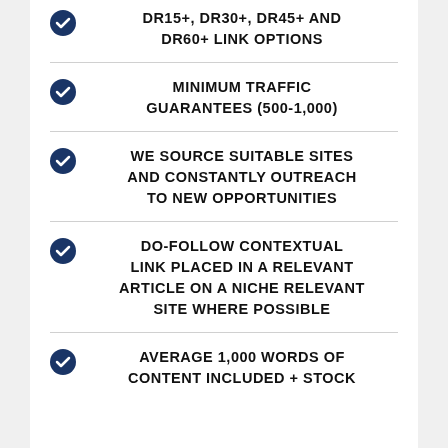DR15+, DR30+, DR45+ AND DR60+ LINK OPTIONS
MINIMUM TRAFFIC GUARANTEES (500-1,000)
WE SOURCE SUITABLE SITES AND CONSTANTLY OUTREACH TO NEW OPPORTUNITIES
DO-FOLLOW CONTEXTUAL LINK PLACED IN A RELEVANT ARTICLE ON A NICHE RELEVANT SITE WHERE POSSIBLE
AVERAGE 1,000 WORDS OF CONTENT INCLUDED + STOCK